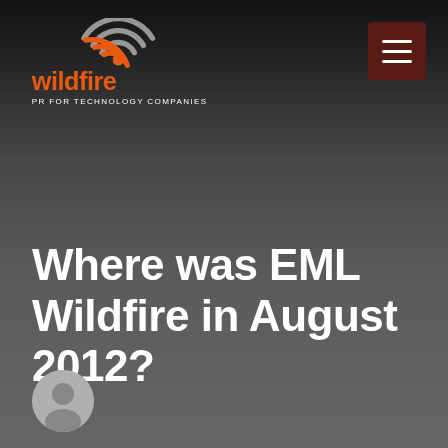[Figure (logo): Wildfire PR for Technology Companies logo — orange flame/wifi swirl graphic with 'wildfire' text in orange and 'PR FOR TECHNOLOGY COMPANIES' in white below]
[Figure (other): Hamburger menu button — dark red/brown square with three white horizontal lines]
Where was EML Wildfire in August 2012?
[Figure (photo): Generic user avatar — grey circle with silhouette of a person]